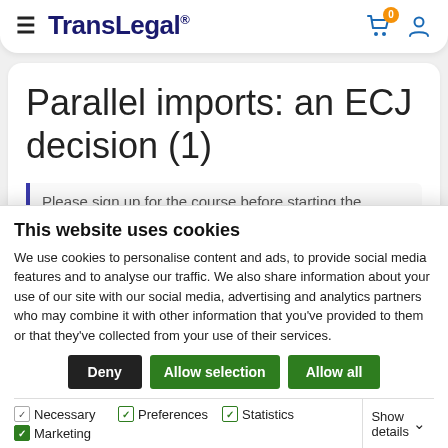TransLegal®
Parallel imports: an ECJ decision (1)
Please sign up for the course before starting the
This website uses cookies
We use cookies to personalise content and ads, to provide social media features and to analyse our traffic. We also share information about your use of our site with our social media, advertising and analytics partners who may combine it with other information that you've provided to them or that they've collected from your use of their services.
Deny | Allow selection | Allow all
Necessary  Preferences  Statistics  Marketing  Show details